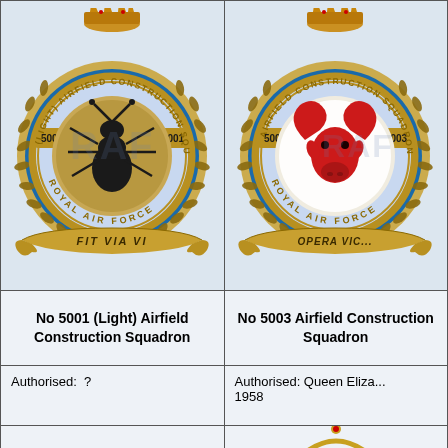[Figure (illustration): Badge of No 5001 (Light) Airfield Construction Squadron RAF - circular badge with ant emblem, laurel wreath, crown, blue ring with unit number 5001, motto FIT VIA VI on scroll, ROYAL AIR FORCE text]
[Figure (illustration): Badge of No 5003 Airfield Construction Squadron RAF - circular badge with red ram's head emblem, laurel wreath, crown, blue ring with unit number 5003, motto OPERA VIC... on scroll, ROYAL AIR FORCE text]
No 5001 (Light) Airfield Construction Squadron
No 5003 Airfield Construction Squadron
Authorised: ?
Authorised: Queen Elizabeth 1958
[Figure (illustration): Royal crown illustration (partial, bottom right cell)]